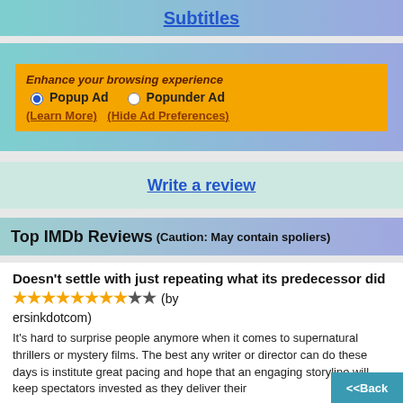Subtitles
Enhance your browsing experience
Popup Ad  Popunder Ad
(Learn More)  (Hide Ad Preferences)
Write a review
Top IMDb Reviews (Caution: May contain spoliers)
Doesn't settle with just repeating what its predecessor did ★★★★★★★★☆★ (by ersinkdotcom)
It's hard to surprise people anymore when it comes to supernatural thrillers or mystery films. The best any writer or director can do these days is institute great pacing and hope that an engaging storyline will keep spectators invested as they deliver their